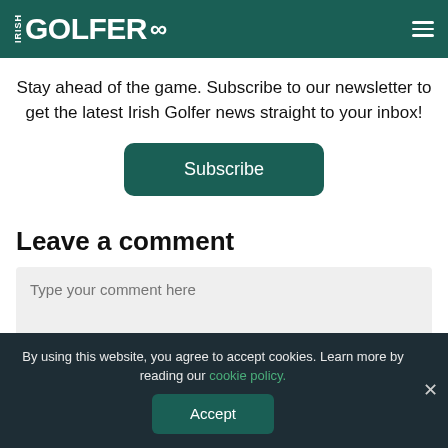IRISH GOLFER
Stay ahead of the game. Subscribe to our newsletter to get the latest Irish Golfer news straight to your inbox!
Subscribe
Leave a comment
Type your comment here
By using this website, you agree to accept cookies. Learn more by reading our cookie policy.